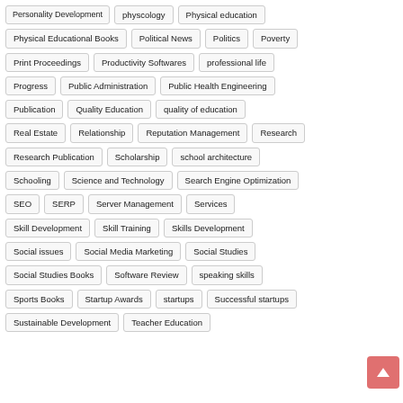Personality Development
physcology
Physical education
Physical Educational Books
Political News
Politics
Poverty
Print Proceedings
Productivity Softwares
professional life
Progress
Public Administration
Public Health Engineering
Publication
Quality Education
quality of education
Real Estate
Relationship
Reputation Management
Research
Research Publication
Scholarship
school architecture
Schooling
Science and Technology
Search Engine Optimization
SEO
SERP
Server Management
Services
Skill Development
Skill Training
Skills Development
Social issues
Social Media Marketing
Social Studies
Social Studies Books
Software Review
speaking skills
Sports Books
Startup Awards
startups
Successful startups
Sustainable Development
Teacher Education